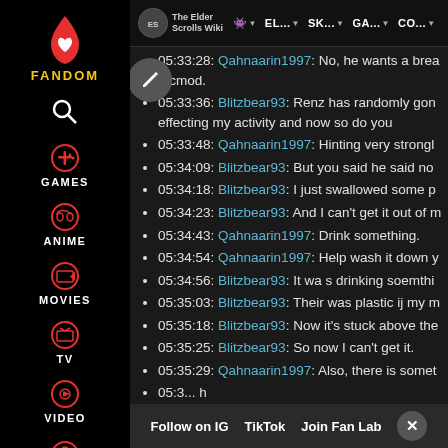The Elder Scrolls Wiki | AA | EL... | SK... | GA... | CO...
05:33:28: Qahnaarin1997: No, he wants a brea a cmod.
05:33:36: Blitzbear93: Renz has randomly gon effecting my activity and now so do you
05:33:48: Qahnaarin1997: Hinting very strongl
05:34:09: Blitzbear93: But you said he said no
05:34:18: Blitzbear93: I just swallowed some p
05:34:23: Blitzbear93: And I can't get it out of m
05:34:43: Qahnaarin1997: Drink something.
05:34:54: Qahnaarin1997: Help wash it down y
05:34:56: Blitzbear93: It wa s drinking soemthi
05:35:03: Blitzbear93: Their was plastic ij my m
05:35:18: Blitzbear93: Now it's stuck above the
05:35:25: Blitzbear93: So now I can't get it.
05:35:29: Qahnaarin1997: Also, there is somet
05:3... h
05:36:02: Qahnaarin1997: What are you eati
Follow on IG | TikTok | Join Fan Lab | X